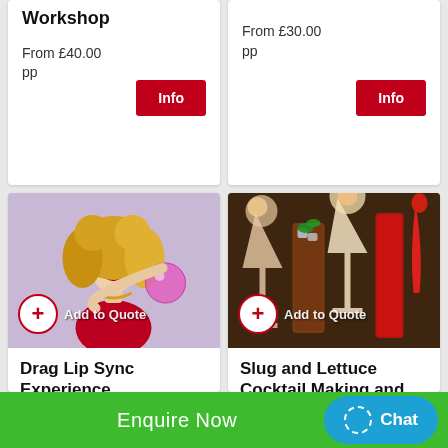Workshop
From £40.00 pp
Info
From £30.00 pp
Info
[Figure (photo): Drag queen performer with big blonde hair, wearing a red corset, holding a pink disco ball]
Add to Quote
Drag Lip Sync Experience
From £35.00
[Figure (photo): Various cocktails on a dark surface - martini glasses with fruit, tall glasses with ice and mint, champagne flutes with red drinks]
Add to Quote
Slug and Lettuce Cocktail Making and Buffet
Enquire Now   Chat